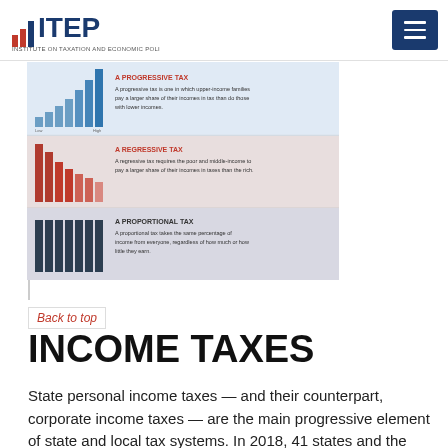ITEP — Institute on Taxation and Economic Policy
[Figure (infographic): Infographic showing three types of taxes with bar charts: A Progressive Tax (ascending bars, blue) — upper-income families pay a larger share of their incomes in tax than do those with lower incomes. A Regressive Tax (descending bars, red) — requires the poor and middle-income to pay a larger share of their incomes in taxes than the rich. A Proportional Tax (equal bars, dark blue) — takes the same percentage of income from everyone, regardless of how much or how little they earn.]
Back to top
INCOME TAXES
State personal income taxes — and their counterpart, corporate income taxes — are the main progressive element of state and local tax systems. In 2018, 41 states and the District of Columbia had a personal income tax...